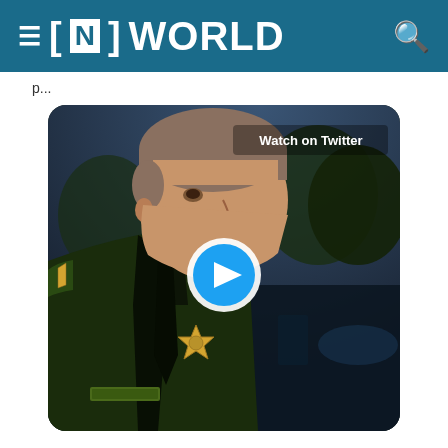≡ [N] WORLD
p...y...
[Figure (screenshot): Video thumbnail showing a sheriff in uniform being interviewed outdoors at night. A blue play button is centered on the image. Text reads 'Watch on Twitter' in upper right corner.]